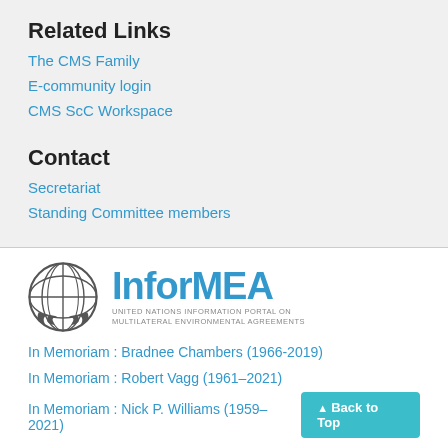Related Links
The CMS Family
E-community login
CMS ScC Workspace
Contact
Secretariat
Standing Committee members
[Figure (logo): InforMEA - United Nations Information Portal on Multilateral Environmental Agreements logo with UN emblem]
In Memoriam : Bradnee Chambers (1966-2019)
In Memoriam : Robert Vagg (1961–2021)
In Memoriam : Nick P. Williams (1959–2021)